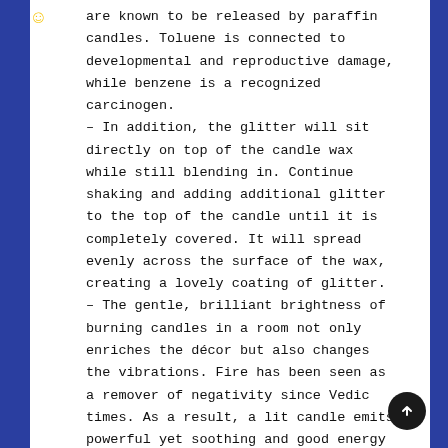are known to be released by paraffin candles. Toluene is connected to developmental and reproductive damage, while benzene is a recognized carcinogen. – In addition, the glitter will sit directly on top of the candle wax while still blending in. Continue shaking and adding additional glitter to the top of the candle until it is completely covered. It will spread evenly across the surface of the wax, creating a lovely coating of glitter. – The gentle, brilliant brightness of burning candles in a room not only enriches the décor but also changes the vibrations. Fire has been seen as a remover of negativity since Vedic times. As a result, a lit candle emits powerful yet soothing and good energy into your house.